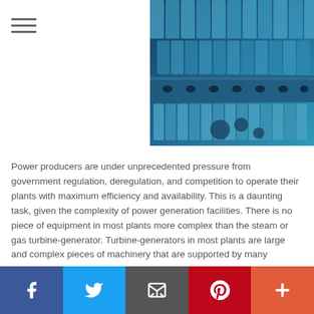[Figure (photo): Close-up photograph of steam or gas turbine blades with blue-tinted metallic appearance, showing complex rows of blades and mechanical components.]
Power producers are under unprecedented pressure from government regulation, deregulation, and competition to operate their plants with maximum efficiency and availability. This is a daunting task, given the complexity of power generation facilities. There is no piece of equipment in most plants more complex than the steam or gas turbine-generator. Turbine-generators in most plants are large and complex pieces of machinery that are supported by many subsystems such